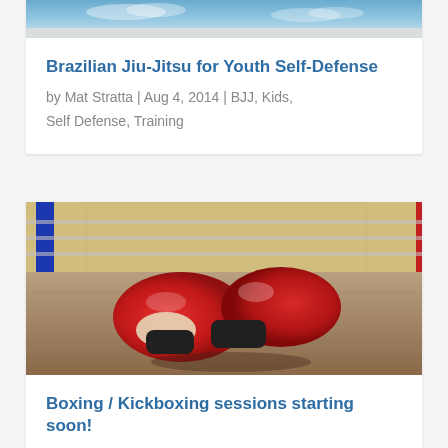[Figure (photo): Partial view of a Brazilian Jiu-Jitsu or martial arts scene, cropped at top — blue sky and mat visible]
Brazilian Jiu-Jitsu for Youth Self-Defense
by Mat Stratta | Aug 4, 2014 | BJJ, Kids, Self Defense, Training
[Figure (photo): Red boxing gloves lying on a wooden gym floor inside a boxing ring, with blue and red corner posts visible in the background]
Boxing / Kickboxing sessions starting soon!
by Mat Stratta | Jun 4, 2014 | Kickboxing, Training